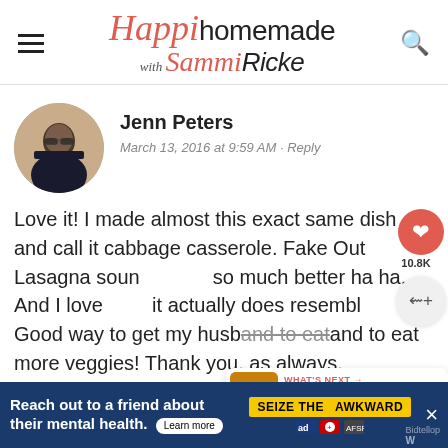Happi homemade with Sammi Ricke
[Figure (photo): Circular avatar photo of Jenn Peters, a woman with dark hair and glasses wearing a black and white patterned top]
Jenn Peters
March 13, 2016 at 9:59 AM · Reply
Love it! I made almost this exact same dish and call it cabbage casserole. Fake Out Lasagna sounds so much better ha ha. And I love that it actually does resemble… Good way to get my husband to eat more veggies! Thank you, as always.
[Figure (screenshot): Advertisement banner: Reach out to a friend about their mental health. Learn more. SEIZE THE AWKWARD.]